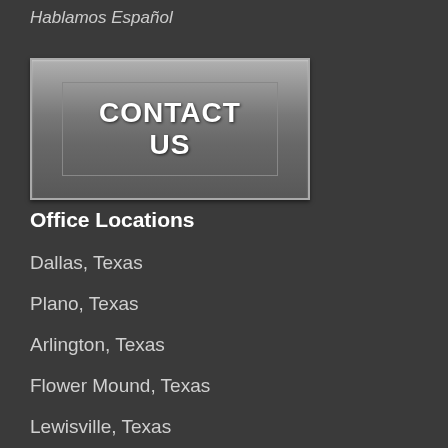Hablamos Español
[Figure (other): CONTACT US button with gradient gray background and white bold text]
Office Locations
Dallas, Texas
Plano, Texas
Arlington, Texas
Flower Mound, Texas
Lewisville, Texas
Sherman, Texas
Keller, Texas